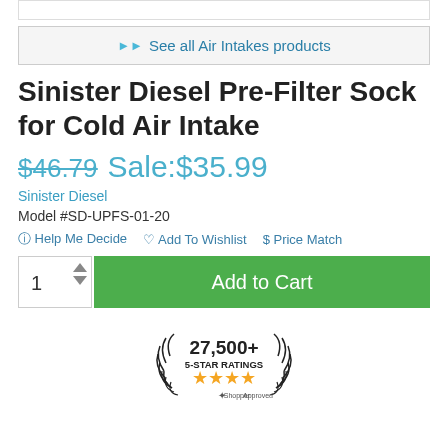See all Air Intakes products
Sinister Diesel Pre-Filter Sock for Cold Air Intake
$46.79 Sale:$35.99
Sinister Diesel
Model #SD-UPFS-01-20
Help Me Decide  Add To Wishlist  $ Price Match
1  Add to Cart
[Figure (logo): Shopper Approved badge with 27,500+ 5-Star Ratings and four gold stars]